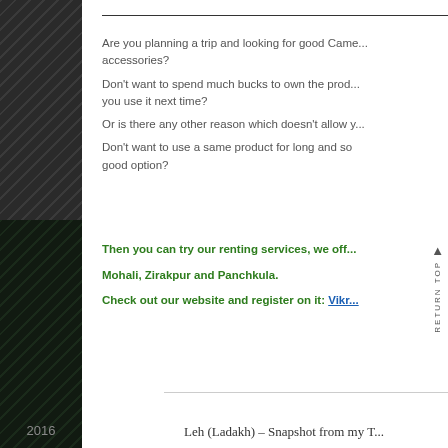Are you planning a trip and looking for good Camera accessories?
Don't want to spend much bucks to own the product and just want to use it next time?
Or is there any other reason which doesn't allow y...
Don't want to use a same product for long and so renting is a good option?
Then you can try our renting services, we off... Mohali, Zirakpur and Panchkula.
Check out our website and register on it: Vikr...
Leh (Ladakh) – Snapshot from my T...
RETURN TOP
2016